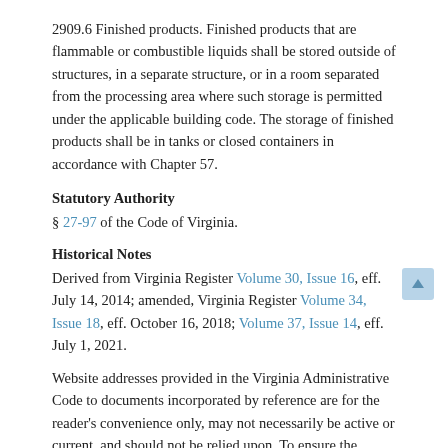2909.6 Finished products. Finished products that are flammable or combustible liquids shall be stored outside of structures, in a separate structure, or in a room separated from the processing area where such storage is permitted under the applicable building code. The storage of finished products shall be in tanks or closed containers in accordance with Chapter 57.
Statutory Authority
§ 27-97 of the Code of Virginia.
Historical Notes
Derived from Virginia Register Volume 30, Issue 16, eff. July 14, 2014; amended, Virginia Register Volume 34, Issue 18, eff. October 16, 2018; Volume 37, Issue 14, eff. July 1, 2021.
Website addresses provided in the Virginia Administrative Code to documents incorporated by reference are for the reader's convenience only, may not necessarily be active or current, and should not be relied upon. To ensure the information incorporated by reference is accurate, the reader is encouraged to use the source document described in the regulation.